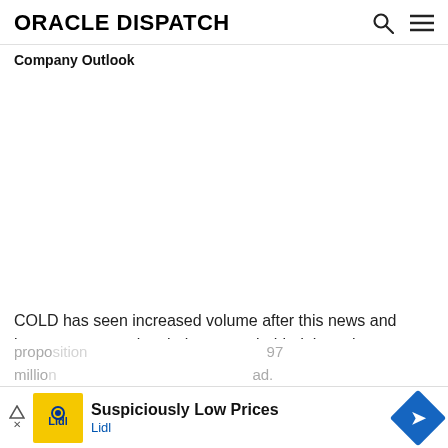ORACLE DISPATCH
Company Outlook
COLD has seen increased volume after this news and investors are putting their support behind the value propo... 97 million... ad.
[Figure (infographic): Lidl advertisement banner: 'Suspiciously Low Prices' with Lidl brand logo and blue diamond navigation arrow icon]